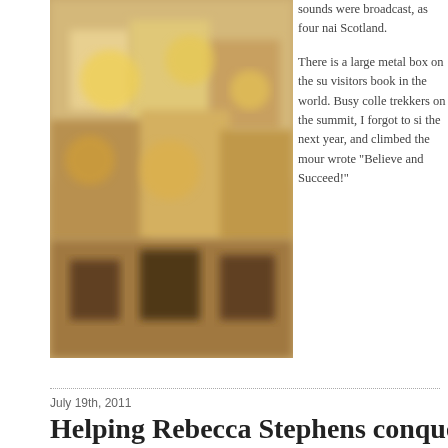[Figure (photo): Blurred photo showing a crowded scene with yellow and brown tones, appears to be an outdoor market or group gathering]
sounds were broadcast, as four nai Scotland.
There is a large metal box on the su visitors book in the world. Busy colle trekkers on the summit, I forgot to si the next year, and climbed the mour wrote “Believe and Succeed!”
July 19th, 2011
Helping Rebecca Stephens conquer Ev
expedition nutrition, my adventures | No Comments